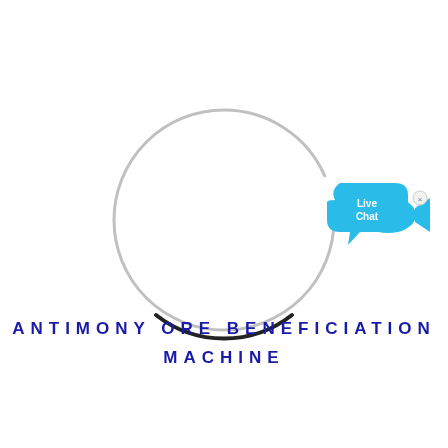[Figure (illustration): A circle outline: mostly light gray/silver, with a short black arc at the bottom. A 'Live Chat' widget appears in the upper-right area with a blue speech bubble and fish icon.]
ANTIMONY ORE BENEFICIATION MACHINE